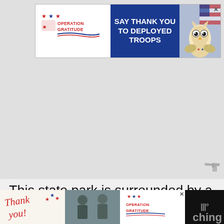[Figure (screenshot): Operation Gratitude advertisement banner: Say Thank You to Deployed Troops, with logo on left and cartoon owl on right]
This state park is surrounded by a charming pine forest and is located around 32 miles from Alpena. Harrisville State Park is one of the oldest state parks in Michigan.
You can sink your feet in the sand or build sandcastles with the kids on the mile-long sandy beach.
[Figure (screenshot): Operation Gratitude bottom advertisement banner with thank you imagery and military photos]